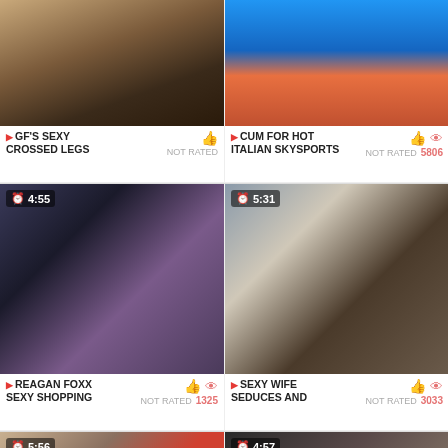[Figure (photo): Video thumbnail - upskirt shot in airport setting]
GF'S SEXY CROSSED LEGS
NOT RATED
[Figure (photo): Video thumbnail - woman in swimsuit by pool]
CUM FOR HOT ITALIAN SKYSPORTS
NOT RATED 5806
[Figure (photo): Video thumbnail 4:55 - two women and a man in shopping scenario]
REAGAN FOXX SEXY SHOPPING
NOT RATED 1325
[Figure (photo): Video thumbnail 5:31 - couple in domestic setting]
SEXY WIFE SEDUCES AND
NOT RATED 3033
[Figure (photo): Video thumbnail 5:56 - woman on couch]
[Figure (photo): Video thumbnail 4:57 - woman on bed]